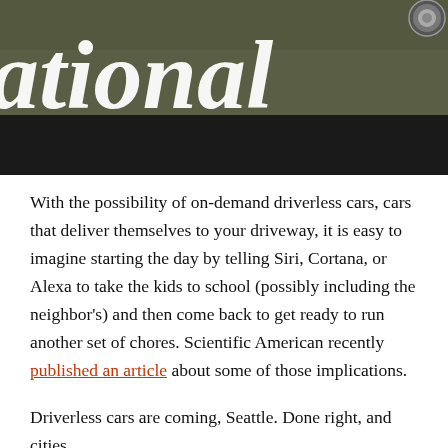[Figure (photo): Dark olive/gray car door or vehicle surface with large white bold italic text reading 'ational' (part of a word, likely 'National'), and a small circular badge in upper right corner.]
With the possibility of on-demand driverless cars, cars that deliver themselves to your driveway, it is easy to imagine starting the day by telling Siri, Cortana, or Alexa to take the kids to school (possibly including the neighbor's) and then come back to get ready to run another set of chores. Scientific American recently published an article about some of those implications.
Driverless cars are coming, Seattle. Done right, and cities be...affordable. D...